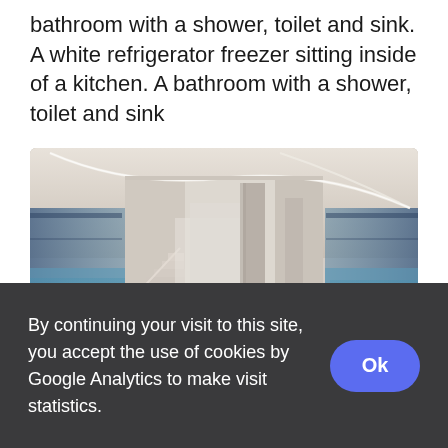bathroom with a shower, toilet and sink. A white refrigerator freezer sitting inside of a kitchen. A bathroom with a shower, toilet and sink
[Figure (photo): A 360-degree panoramic interior view of a modern minimalist white house showing a staircase, open plan living area, columns, and large glass windows with a pool visible outside.]
By continuing your visit to this site, you accept the use of cookies by Google Analytics to make visit statistics.